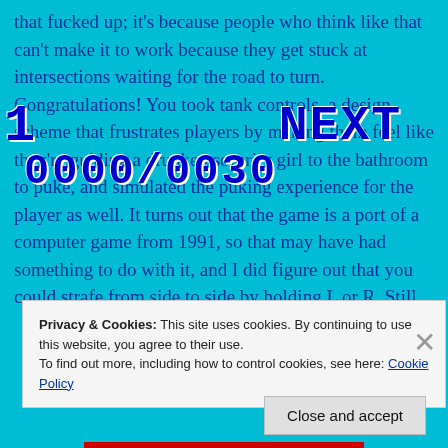that fucked up; it's because people who think like that can't make it to work because they get stuck at intersections waiting for the road to turn. Congratulations! You took tank controls, a design scheme that frustrates players by making them feel like they're guiding a drunken sorority girl to the bathroom to puke, and simulated the puking experience for the player as well. It turns out that the game is a port of a computer game from 1991, so that may have had something to do with it, and I did figure out that you could strafe from side to side by holding L or R. Still,
[Figure (screenshot): Game UI overlay showing '1 NEXT' on top line and '0000/0030' score display on second line, in bold blue monospace font on cyan background]
Privacy & Cookies: This site uses cookies. By continuing to use this website, you agree to their use.
To find out more, including how to control cookies, see here: Cookie Policy